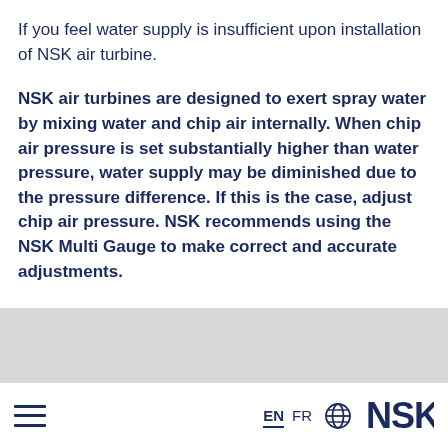If you feel water supply is insufficient upon installation of NSK air turbine.
NSK air turbines are designed to exert spray water by mixing water and chip air internally. When chip air pressure is set substantially higher than water pressure, water supply may be diminished due to the pressure difference. If this is the case, adjust chip air pressure. NSK recommends using the NSK Multi Gauge to make correct and accurate adjustments.
EN FR [globe icon] NSK